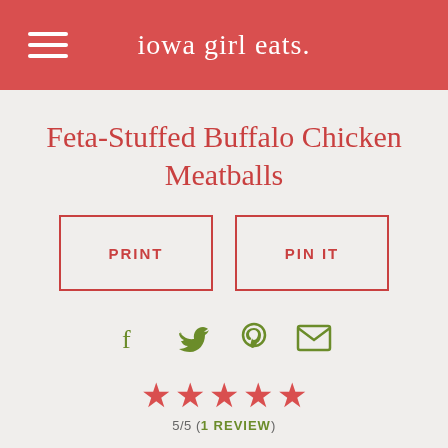iowa girl eats.
Feta-Stuffed Buffalo Chicken Meatballs
PRINT | PIN IT
[Figure (infographic): Social share icons: Facebook, Twitter, Pinterest, Email — all in olive/green color]
5/5 (1 REVIEW) — five filled stars rating